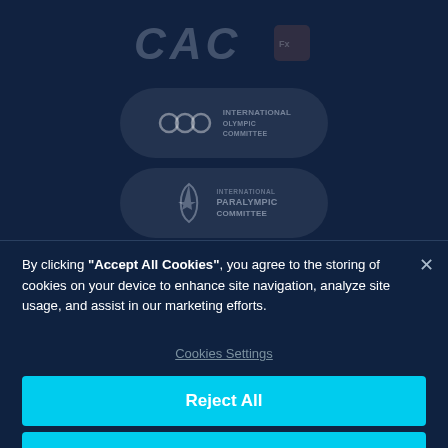[Figure (screenshot): Dark navy blue webpage background with CAC logo at top, IOC logo badge in middle, and IPC logo badge below, partially obscured by a cookie consent overlay modal]
By clicking “Accept All Cookies”, you agree to the storing of cookies on your device to enhance site navigation, analyze site usage, and assist in our marketing efforts.
Cookies Settings
Reject All
Accept All Cookies